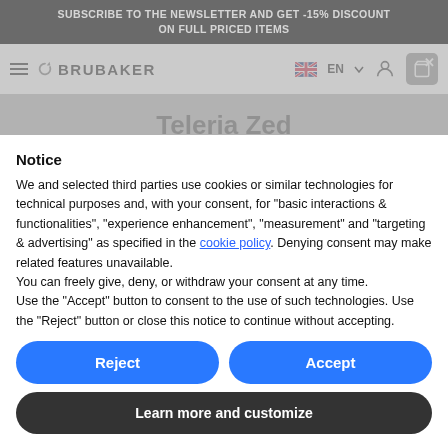SUBSCRIBE TO THE NEWSLETTER AND GET -15% DISCOUNT ON FULL PRICED ITEMS
[Figure (screenshot): Navigation bar with hamburger menu, BRUBAKER logo, EN language selector with UK flag, user icon, and cart icon with X]
Teleria Zed
SORT BY   FILTER
Nessun prodotto trovato in questa collezione
Notice
We and selected third parties use cookies or similar technologies for technical purposes and, with your consent, for “basic interactions & functionalities”, “experience enhancement”, “measurement” and “targeting & advertising” as specified in the cookie policy. Denying consent may make related features unavailable.
You can freely give, deny, or withdraw your consent at any time.
Use the “Accept” button to consent to the use of such technologies. Use the “Reject” button or close this notice to continue without accepting.
Reject
Accept
Learn more and customize